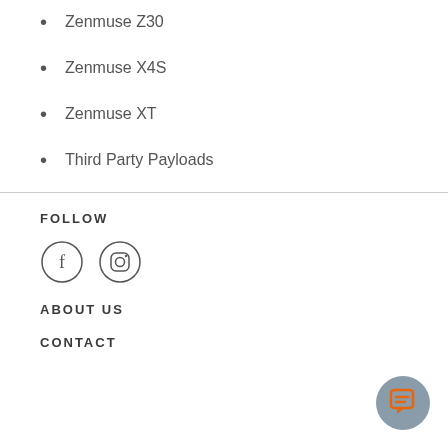Zenmuse Z30
Zenmuse X4S
Zenmuse XT
Third Party Payloads
FOLLOW
[Figure (illustration): Facebook circle icon and Instagram circle icon]
ABOUT US
CONTACT
[Figure (illustration): Orange chat bubble icon on gray circular button]